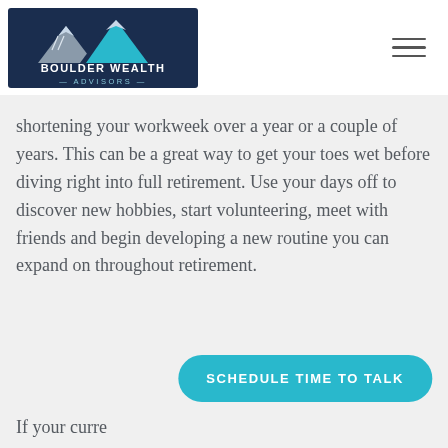[Figure (logo): Boulder Wealth Advisors logo with mountain peaks in dark blue and light blue/teal, text reads BOULDER WEALTH ADVISORS]
shortening your workweek over a year or a couple of years. This can be a great way to get your toes wet before diving right into full retirement. Use your days off to discover new hobbies, start volunteering, meet with friends and begin developing a new routine you can expand on throughout retirement.
SCHEDULE TIME TO TALK
If your curre